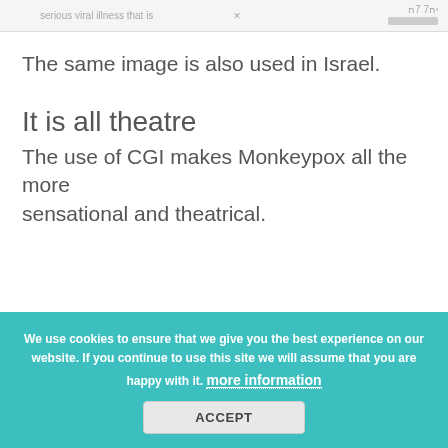serious viral illness that is   ×
The same image is also used in Israel.
It is all theatre
The use of CGI makes Monkeypox all the more sensational and theatrical.
We use cookies to ensure that we give you the best experience on our website. If you continue to use this site we will assume that you are happy with it. more information
ACCEPT